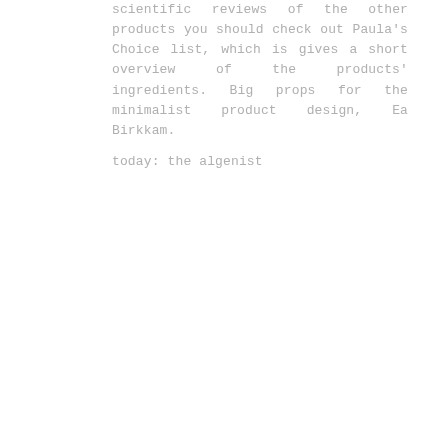scientific reviews of the other products you should check out Paula's Choice list, which is gives a short overview of the products' ingredients. Big props for the minimalist product design, Ea Birkkam.
today: the algenist